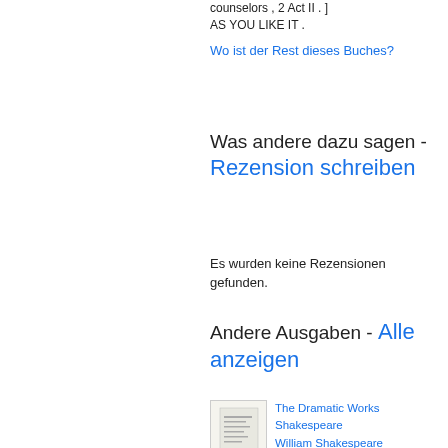counselors , 2 Act II . ] AS YOU LIKE IT .
Wo ist der Rest dieses Buches?
Was andere dazu sagen - Rezension schreiben
Es wurden keine Rezensionen gefunden.
Andere Ausgaben - Alle anzeigen
The Dramatic Works Shakespeare
William Shakespeare
Vollansicht - 1826